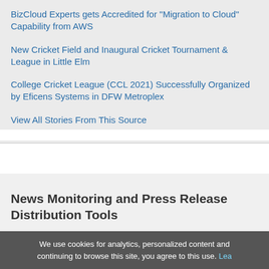BizCloud Experts gets Accredited for "Migration to Cloud" Capability from AWS
New Cricket Field and Inaugural Cricket Tournament & League in Little Elm
College Cricket League (CCL 2021) Successfully Organized by Eficens Systems in DFW Metroplex
View All Stories From This Source
News Monitoring and Press Release Distribution Tools
News Topics
Press Releases
All News Topics
Submit Press Release
We use cookies for analytics, personalized content and continuing to browse this site, you agree to this use. Lea…